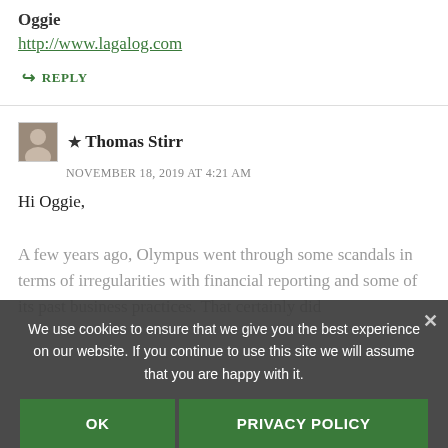Oggie
http://www.lagalog.com
↳ REPLY
★ Thomas Stirr
NOVEMBER 18, 2019 AT 4:21 AM
Hi Oggie,

A few years ago, Olympus went through some scandals in terms of irregularities with financial reporting and some of its past business practices. That certainly did [text continues below overlay]
We use cookies to ensure that we give you the best experience on our website. If you continue to use this site we will assume that you are happy with it.
OK
PRIVACY POLICY